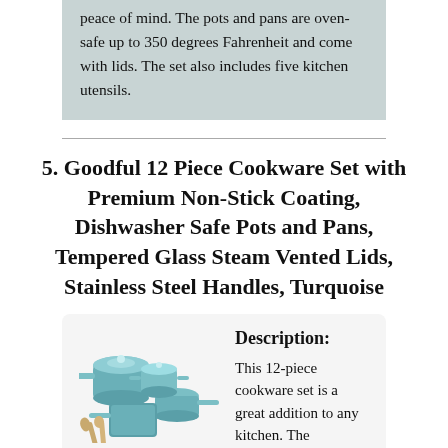peace of mind. The pots and pans are oven-safe up to 350 degrees Fahrenheit and come with lids. The set also includes five kitchen utensils.
5. Goodful 12 Piece Cookware Set with Premium Non-Stick Coating, Dishwasher Safe Pots and Pans, Tempered Glass Steam Vented Lids, Stainless Steel Handles, Turquoise
[Figure (photo): Photo of a turquoise 12-piece cookware set including pots, pans, lids, and wooden utensils]
Description:
This 12-piece cookware set is a great addition to any kitchen. The